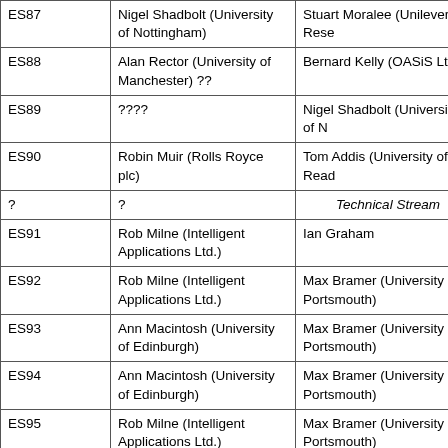| Year | Chair | Programme Chair | Technical Stream |
| --- | --- | --- | --- |
| ES87 | Nigel Shadbolt (University of Nottingham) | Stuart Moralee (Unilever Rese... |  |
| ES88 | Alan Rector (University of Manchester) ?? | Bernard Kelly (OASiS Ltd.) |  |
| ES89 | ???? | Nigel Shadbolt (University of N... |  |
| ES90 | Robin Muir (Rolls Royce plc) | Tom Addis (University of Read... |  |
| ? | ? | Technical Stream |  |
| ES91 | Rob Milne (Intelligent Applications Ltd.) | Ian Graham | R... A... |
| ES92 | Rob Milne (Intelligent Applications Ltd.) | Max Bramer (University of Portsmouth) | Ia... |
| ES93 | Ann Macintosh (University of Edinburgh) | Max Bramer (University of Portsmouth) | Ia... |
| ES94 | Ann Macintosh (University of Edinburgh) | Max Bramer (University of Portsmouth) | R... A... |
| ES95 | Rob Milne (Intelligent Applications Ltd.) | Max Bramer (University of Portsmouth) | A... o... |
| ES96 | Ian Watson (University of Salford) | John Nealon (Oxford Brookes University) | A... o... |
| ES97 | Max Bramer (University of Portsmouth) | John Hunt (University of Wales) | A... o... |
| ES98 | Max Bramer (University of Portsmouth) | Roger Miles (XHP Consulting Ltd.) | R... A... |
| ES99 | Frans Coenen (University... | Max Bramer (University of... | R... |